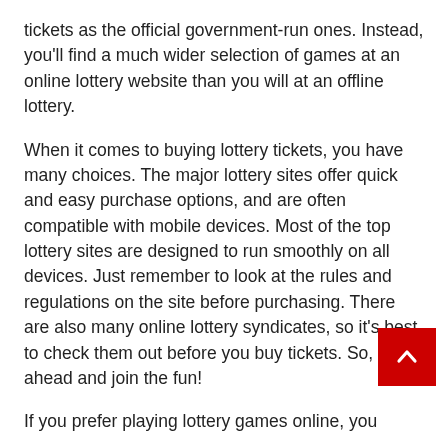tickets as the official government-run ones. Instead, you'll find a much wider selection of games at an online lottery website than you will at an offline lottery.
When it comes to buying lottery tickets, you have many choices. The major lottery sites offer quick and easy purchase options, and are often compatible with mobile devices. Most of the top lottery sites are designed to run smoothly on all devices. Just remember to look at the rules and regulations on the site before purchasing. There are also many online lottery syndicates, so it's best to check them out before you buy tickets. So, go ahead and join the fun!
If you prefer playing lottery games online, you